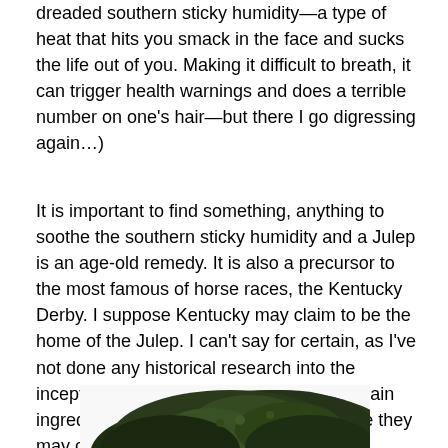dreaded southern sticky humidity—a type of heat that hits you smack in the face and sucks the life out of you. Making it difficult to breath, it can trigger health warnings and does a terrible number on one's hair—but there I go digressing again…)
It is important to find something, anything to soothe the southern sticky humidity and a Julep is an age-old remedy. It is also a precursor to the most famous of horse races, the Kentucky Derby. I suppose Kentucky may claim to be the home of the Julep. I can't say for certain, as I've not done any historical research into the inception of the drink, but given that the main ingredient is Kentucky Bourbon, I suppose they may claim it as so.
[Figure (photo): Partial photo of a large tree with dense green foliage against a white background, only top portion visible.]